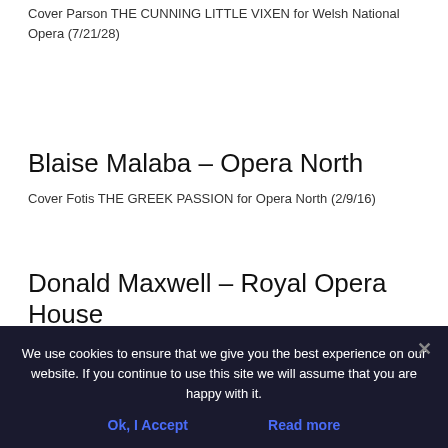Cover Parson THE CUNNING LITTLE VIXEN for Welsh National Opera (7/21/28)
Blaise Malaba – Opera North
Cover Fotis THE GREEK PASSION for Opera North (2/9/16)
Donald Maxwell – Royal Opera House
2nd Priest DIE ZAUBERFLÖTE for Royal Opera, Covent Garden at Royal Opera House (1/4/8/12/16/18/22/25/27)
We use cookies to ensure that we give you the best experience on our website. If you continue to use this site we will assume that you are happy with it.